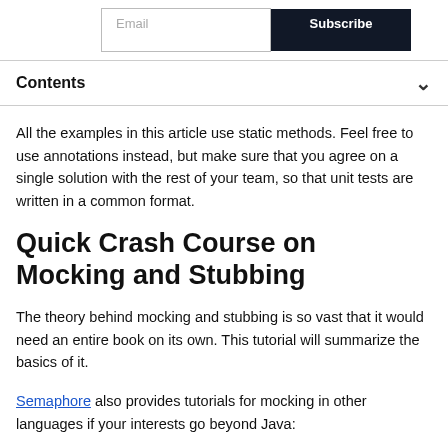Email | Subscribe
Contents
All the examples in this article use static methods. Feel free to use annotations instead, but make sure that you agree on a single solution with the rest of your team, so that unit tests are written in a common format.
Quick Crash Course on Mocking and Stubbing
The theory behind mocking and stubbing is so vast that it would need an entire book on its own. This tutorial will summarize the basics of it.
Semaphore also provides tutorials for mocking in other languages if your interests go beyond Java: